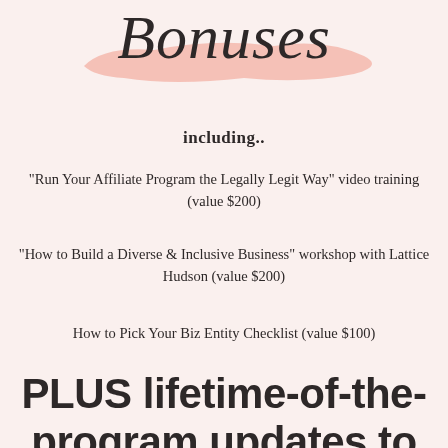Bonuses
including..
“Run Your Affiliate Program the Legally Legit Way” video training (value $200)
“How to Build a Diverse & Inclusive Business” workshop with Lattice Hudson (value $200)
How to Pick Your Biz Entity Checklist (value $100)
PLUS lifetime-of-the-program updates to the